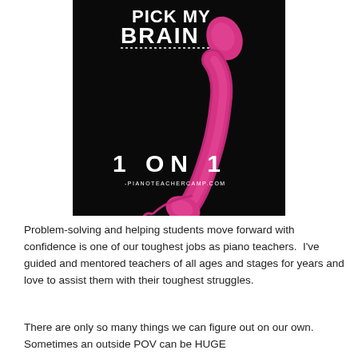[Figure (photo): Promotional image with black background showing a pink/magenta retro telephone handset with coiled cord. Text reads 'PICK MY BRAIN' at top in white bold letters with a dotted underline, '1 ON 1' in large white text at bottom, and '-PIANOTEACHERCAMP.COM' below that in smaller white text.]
Problem-solving and helping students move forward with confidence is one of our toughest jobs as piano teachers.  I've guided and mentored teachers of all ages and stages for years and love to assist them with their toughest struggles.
There are only so many things we can figure out on our own.  Sometimes an outside POV can be HUGE